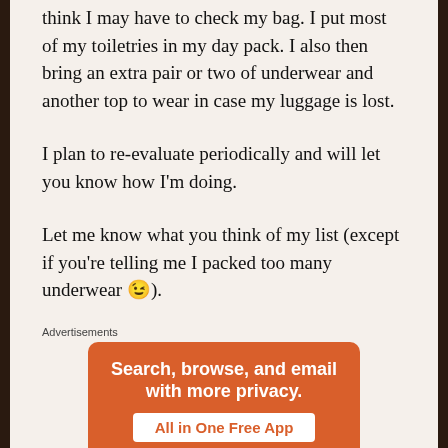think I may have to check my bag. I put most of my toiletries in my day pack. I also then bring an extra pair or two of underwear and another top to wear in case my luggage is lost.
I plan to re-evaluate periodically and will let you know how I'm doing.
Let me know what you think of my list (except if you're telling me I packed too many underwear 😉).
Advertisements
[Figure (infographic): Advertisement banner in orange/red color with white text: 'Search, browse, and email with more privacy.' and a white button with orange text 'All in One Free App'. Below shows the top portion of a dark smartphone.]